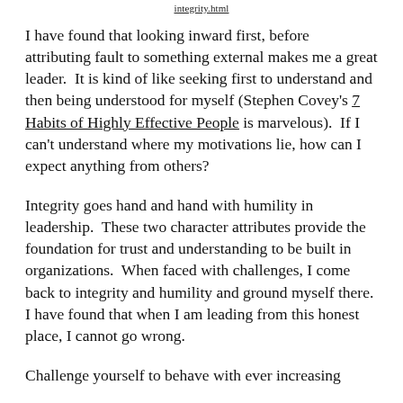integrity.html
I have found that looking inward first, before attributing fault to something external makes me a great leader.  It is kind of like seeking first to understand and then being understood for myself (Stephen Covey's 7 Habits of Highly Effective People is marvelous).  If I can't understand where my motivations lie, how can I expect anything from others?
Integrity goes hand and hand with humility in leadership.  These two character attributes provide the foundation for trust and understanding to be built in organizations.  When faced with challenges, I come back to integrity and humility and ground myself there.  I have found that when I am leading from this honest place, I cannot go wrong.
Challenge yourself to behave with ever increasing